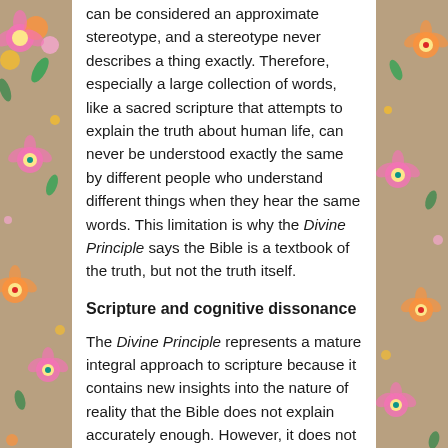can be considered an approximate stereotype, and a stereotype never describes a thing exactly. Therefore, especially a large collection of words, like a sacred scripture that attempts to explain the truth about human life, can never be understood exactly the same by different people who understand different things when they hear the same words. This limitation is why the Divine Principle says the Bible is a textbook of the truth, but not the truth itself.
Scripture and cognitive dissonance
The Divine Principle represents a mature integral approach to scripture because it contains new insights into the nature of reality that the Bible does not explain accurately enough. However, it does not reject the Bible or the ancient truths contained in it, but builds on